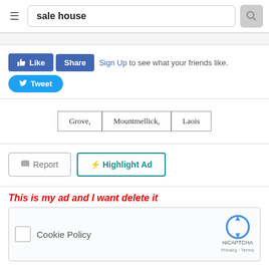sale house
Like  Share  Sign Up to see what your friends like.  Tweet
Grove,  Mountmellick,  Laois
Report  Highlight Ad
This is my ad and I want delete it
[Figure (other): reCAPTCHA verification widget with checkbox and Cookie Policy label]